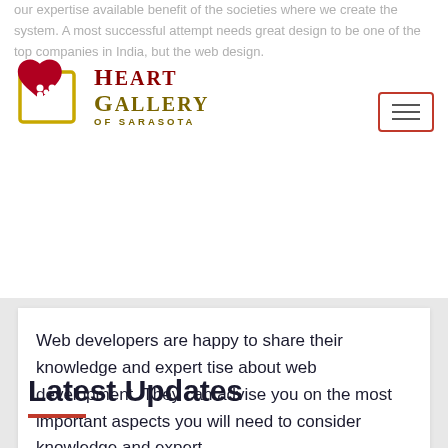Heart Gallery of Sarasota
our expertise available benefit of the societies where we create the system. A most successful attempt needs great design to be one of the top companies in India, but the web design.
[Figure (logo): Heart Gallery of Sarasota logo with red heart icon and serif text]
Web developers are happy to share their knowledge and expert tise about web development. They can advise you on the most important aspects you will need to consider knowledge and expert
Latest Updates